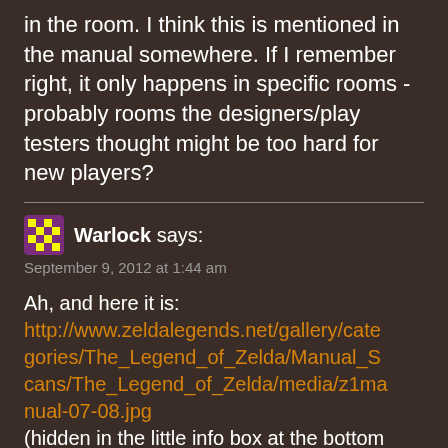in the room. I think this is mentioned in the manual somewhere. If I remember right, it only happens in specific rooms - probably rooms the designers/play testers thought might be too hard for new players?
Warlock says:
September 9, 2012 at 1:44 am

Ah, and here it is:
http://www.zeldalegends.net/gallery/categories/The_Legend_of_Zelda/Manual_Scans/The_Legend_of_Zelda/media/z1manual-07-08.jpg
(hidden in the little info box at the bottom